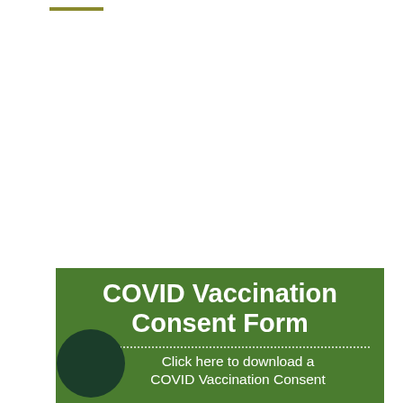COVID Vaccination Consent Form
Click here to download a COVID Vaccination Consent